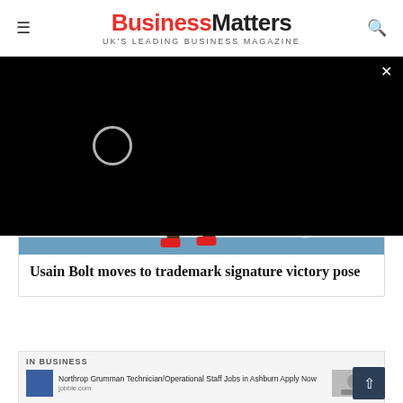BusinessMatters — UK'S LEADING BUSINESS MAGAZINE
[Figure (screenshot): Black video overlay with loading spinner circle and close (×) button in top right corner]
[Figure (photo): Athletic runner on a blue running track with red shoes and white lane markings, showing legs and starting position. Lane numbers visible.]
Usain Bolt moves to trademark signature victory pose
IN BUSINESS
Northrop Grumman Technician/Operational Staff Jobs in Ashburn Apply Now jobble.com